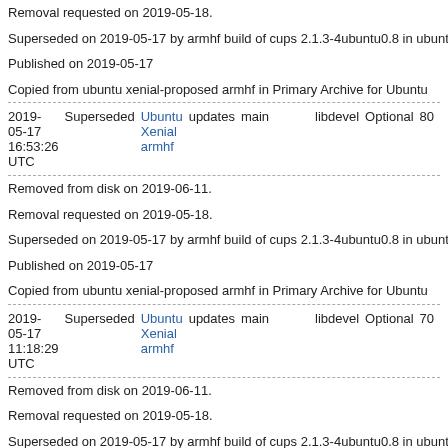Removal requested on 2019-05-18.
Superseded on 2019-05-17 by armhf build of cups 2.1.3-4ubuntu0.8 in ubuntu…
Published on 2019-05-17
Copied from ubuntu xenial-proposed armhf in Primary Archive for Ubuntu
| 2019-05-17 16:53:26 UTC | Superseded | Ubuntu Xenial armhf | updates | main |  | libdevel | Optional | 80… |
Removed from disk on 2019-06-11.
Removal requested on 2019-05-18.
Superseded on 2019-05-17 by armhf build of cups 2.1.3-4ubuntu0.8 in ubuntu…
Published on 2019-05-17
Copied from ubuntu xenial-proposed armhf in Primary Archive for Ubuntu
| 2019-05-17 11:18:29 UTC | Superseded | Ubuntu Xenial armhf | updates | main |  | libdevel | Optional | 70… |
Removed from disk on 2019-06-11.
Removal requested on 2019-05-18.
Superseded on 2019-05-17 by armhf build of cups 2.1.3-4ubuntu0.8 in ubuntu…
Published on 2019-05-17